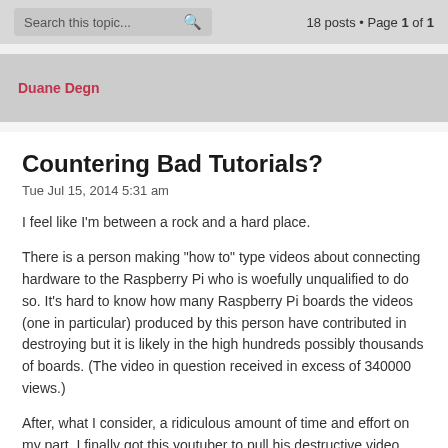Search this topic...   18 posts • Page 1 of 1
Duane Degn
Countering Bad Tutorials?
Tue Jul 15, 2014 5:31 am
I feel like I'm between a rock and a hard place.
There is a person making "how to" type videos about connecting hardware to the Raspberry Pi who is woefully unqualified to do so. It's hard to know how many Raspberry Pi boards the videos (one in particular) produced by this person have contributed in destroying but it is likely in the high hundreds possibly thousands of boards. (The video in question received in excess of 340000 views.)
After, what I consider, a ridiculous amount of time and effort on my part, I finally got this youtuber to pull his destructive video. This person has also posted additional bad tutorials and